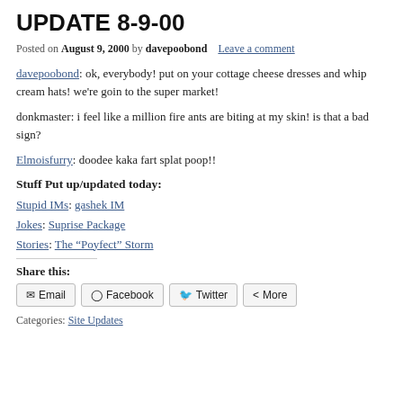UPDATE 8-9-00
Posted on August 9, 2000 by davepoobond   Leave a comment
davepoobond: ok, everybody! put on your cottage cheese dresses and whip cream hats! we're goin to the super market!
donkmaster: i feel like a million fire ants are biting at my skin! is that a bad sign?
Elmoisfurry: doodee kaka fart splat poop!!
Stuff Put up/updated today:
Stupid IMs: gashek IM
Jokes: Suprise Package
Stories: The “Poyfect” Storm
Share this:
Email  Facebook  Twitter  More
Categories: Site Updates